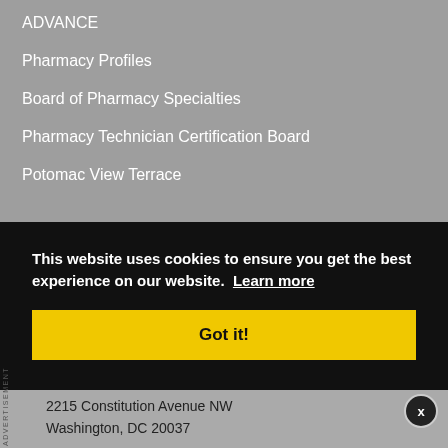ADVANCE
Pharmacy Profiles
Board of Pharmacy Specialties
Pharmacy Technician Certification Board
Potomac View Terrace
This website uses cookies to ensure you get the best experience on our website.  Learn more
Got it!
2215 Constitution Avenue NW
Washington, DC 20037
ADVERTISEMENT